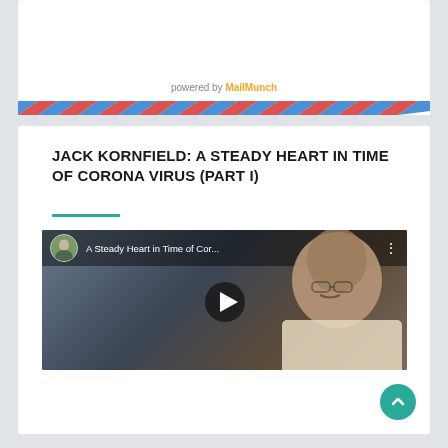powered by MailMunch
JACK KORNFIELD: A STEADY HEART IN TIME OF CORONA VIRUS (PART I)
[Figure (screenshot): YouTube video thumbnail showing a man with a mustache. Title bar reads 'A Steady Heart in Time of Cor...' with a circular avatar of the presenter and a play button in the center.]